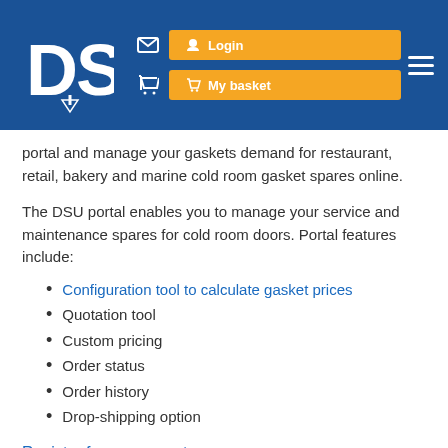DSU — Login | My basket | Navigation
portal and manage your gaskets demand for restaurant, retail, bakery and marine cold room gasket spares online.
The DSU portal enables you to manage your service and maintenance spares for cold room doors. Portal features include:
Configuration tool to calculate gasket prices
Quotation tool
Custom pricing
Order status
Order history
Drop-shipping option
Register for an account.